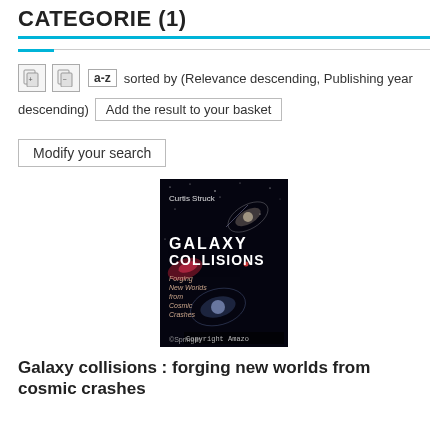CATEGORIE (1)
sorted by (Relevance descending, Publishing year descending)   Add the result to your basket
Modify your search
[Figure (photo): Book cover of 'Galaxy Collisions: Forging New Worlds from Cosmic Crashes' by Curtis Struck, published by Springer. Black background with images of colliding galaxies. Title text in bold red/white. Copyright Amazon watermark visible.]
Galaxy collisions : forging new worlds from cosmic crashes